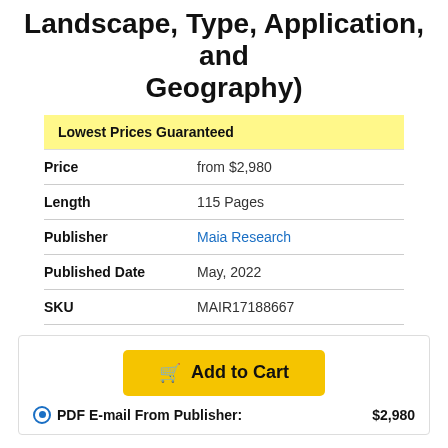Landscape, Type, Application, and Geography)
| Price | from $2,980 |
| Length | 115 Pages |
| Publisher | Maia Research |
| Published Date | May, 2022 |
| SKU | MAIR17188667 |
Add to Cart
PDF E-mail From Publisher: $2,980